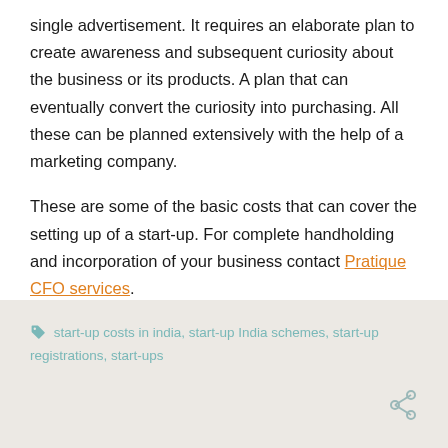single advertisement. It requires an elaborate plan to create awareness and subsequent curiosity about the business or its products. A plan that can eventually convert the curiosity into purchasing. All these can be planned extensively with the help of a marketing company.
These are some of the basic costs that can cover the setting up of a start-up. For complete handholding and incorporation of your business contact Pratique CFO services.
start-up costs in india, start-up India schemes, start-up registrations, start-ups